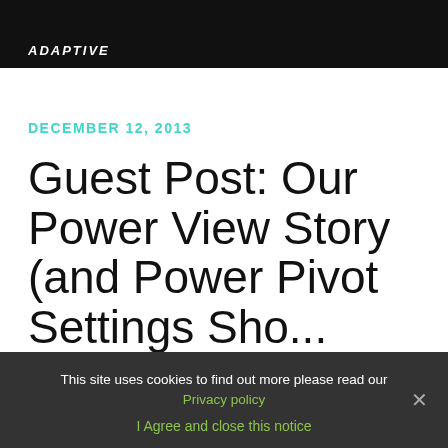ADAPTIVE
DECEMBER 12, 2013
Guest Post: Our Power View Story (and Power Pivot Settings Showstopper)
This site uses cookies to find out more please read our Privacy policy
I Agree and close this notice